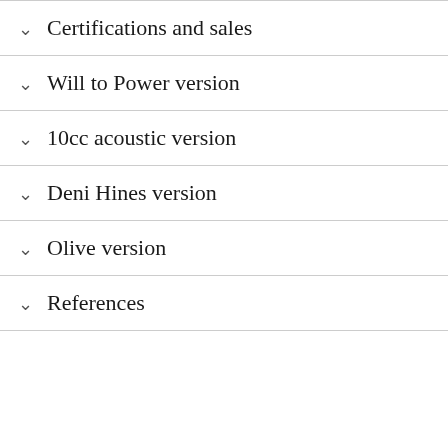Certifications and sales
Will to Power version
10cc acoustic version
Deni Hines version
Olive version
References